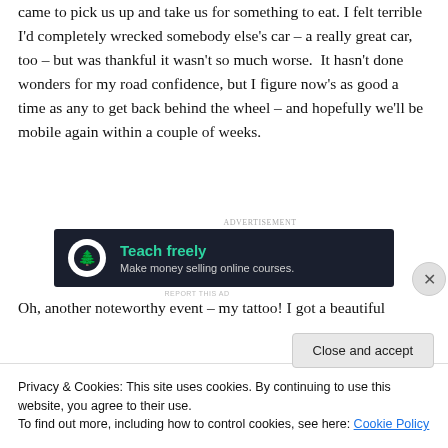came to pick us up and take us for something to eat. I felt terrible I'd completely wrecked somebody else's car – a really great car, too – but was thankful it wasn't so much worse.  It hasn't done wonders for my road confidence, but I figure now's as good a time as any to get back behind the wheel – and hopefully we'll be mobile again within a couple of weeks.
[Figure (screenshot): Advertisement banner with dark background showing 'Teach freely – Make money selling online courses.' with a tree logo icon]
Oh, another noteworthy event – my tattoo! I got a beautiful
Privacy & Cookies: This site uses cookies. By continuing to use this website, you agree to their use.
To find out more, including how to control cookies, see here: Cookie Policy